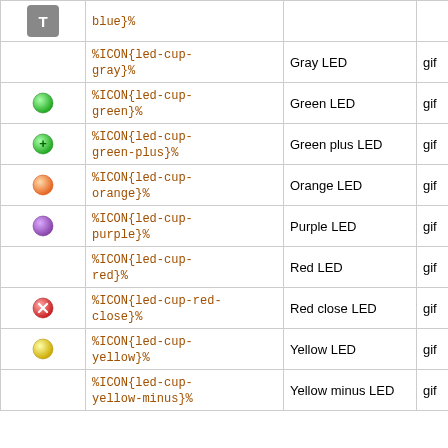| Icon | Code | Description | Type | # |
| --- | --- | --- | --- | --- |
| [T icon] | %ICON{led-cup-blue}% | Blue LED (partial) | gif | 1 |
|  | %ICON{led-cup-gray}% | Gray LED | gif | 1 |
| green circle | %ICON{led-cup-green}% | Green LED | gif | 1 |
| green plus circle | %ICON{led-cup-green-plus}% | Green plus LED | gif | 1 |
| orange circle | %ICON{led-cup-orange}% | Orange LED | gif | 1 |
| purple circle | %ICON{led-cup-purple}% | Purple LED | gif | 1 |
|  | %ICON{led-cup-red}% | Red LED | gif | 1 |
| red X circle | %ICON{led-cup-red-close}% | Red close LED | gif | 1 |
| yellow circle | %ICON{led-cup-yellow}% | Yellow LED | gif | 1 |
|  | %ICON{led-cup-yellow-minus}% | Yellow minus LED | gif | 1 |